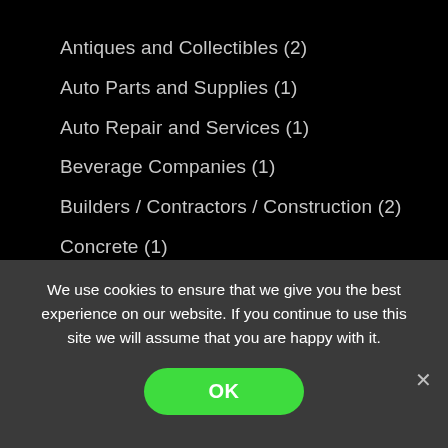Antiques and Collectibles (2)
Auto Parts and Supplies (1)
Auto Repair and Services (1)
Beverage Companies (1)
Builders / Contractors / Construction (2)
Concrete (1)
Convenience Stores / Gas Stations (2)
Electrical Contracting (1)
Entertainment (1)
Excavating / Grading (2)
We use cookies to ensure that we give you the best experience on our website. If you continue to use this site we will assume that you are happy with it.